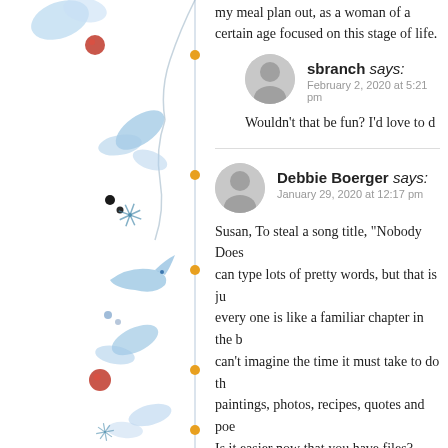my meal plan out, as a woman of a certain age focused on this stage of life.
sbranch says: February 2, 2020 at 5:21 pm — Wouldn't that be fun? I'd love to d
Debbie Boerger says: January 29, 2020 at 12:17 pm — Susan, To steal a song title, "Nobody Does..." can type lots of pretty words, but that is ju... every one is like a familiar chapter in the b... can't imagine the time it must take to do th... paintings, photos, recipes, quotes and poe... Is it easier now that you have files? Even w... life and you send it out with Love. Plus, w...